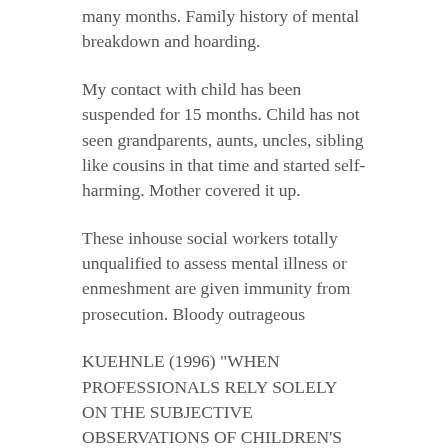many months. Family history of mental breakdown and hoarding.
My contact with child has been suspended for 15 months. Child has not seen grandparents, aunts, uncles, sibling like cousins in that time and started self-harming. Mother covered it up.
These inhouse social workers totally unqualified to assess mental illness or enmeshment are given immunity from prosecution. Bloody outrageous
KUEHNLE (1996) "WHEN PROFESSIONALS RELY SOLELY ON THE SUBJECTIVE OBSERVATIONS OF CHILDREN'S NARRATIVE TO ASSESS THE ACCURACY OF ABUSE ALLEGATIONS, THEIR CONCLUSIONS ARE NOT MORE ACCURATE THAN CHANCE".
REPLY